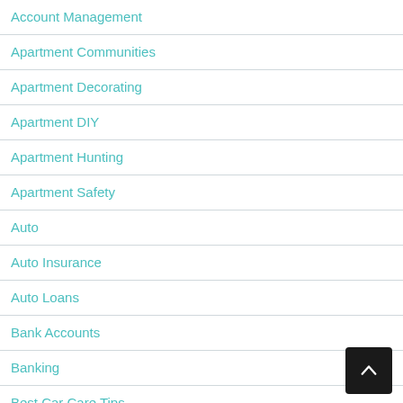Account Management
Apartment Communities
Apartment Decorating
Apartment DIY
Apartment Hunting
Apartment Safety
Auto
Auto Insurance
Auto Loans
Bank Accounts
Banking
Best Car Care Tips
Best Car Cleaner Ideas